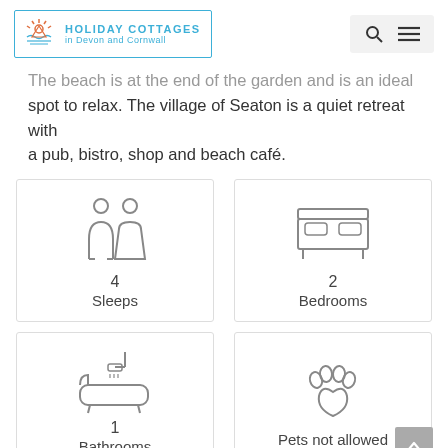[Figure (logo): Holiday Cottages in Devon and Cornwall logo with sun/beach icon in a blue border box]
The beach is at the end of the garden and is an ideal spot to relax. The village of Seaton is a quiet retreat with a pub, bistro, shop and beach café.
[Figure (infographic): Icon of two people (2 adults) with number 4 and label Sleeps]
[Figure (infographic): Icon of a double bed with number 2 and label Bedrooms]
[Figure (infographic): Icon of a bathtub with number 1 and label Bathrooms]
[Figure (infographic): Icon of a paw print with label Pets not allowed]